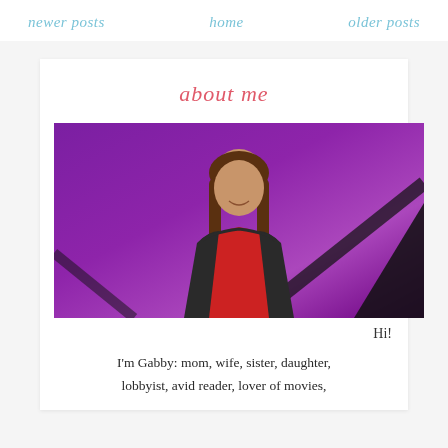newer posts   home   older posts
about me
[Figure (photo): Woman with long brown hair wearing a red top and dark cardigan, standing in front of a purple Jeopardy! game show background]
Hi!
I'm Gabby: mom, wife, sister, daughter, lobbyist, avid reader, lover of movies,